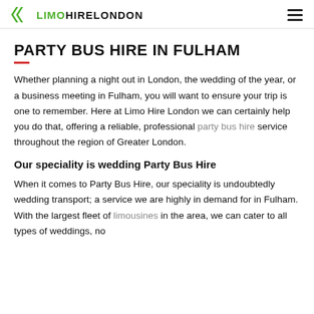LIMOHIRELONDON
PARTY BUS HIRE IN FULHAM
Whether planning a night out in London, the wedding of the year, or a business meeting in Fulham, you will want to ensure your trip is one to remember. Here at Limo Hire London we can certainly help you do that, offering a reliable, professional party bus hire service throughout the region of Greater London.
Our speciality is wedding Party Bus Hire
When it comes to Party Bus Hire, our speciality is undoubtedly wedding transport; a service we are highly in demand for in Fulham. With the largest fleet of limousines in the area, we can cater to all types of weddings, no